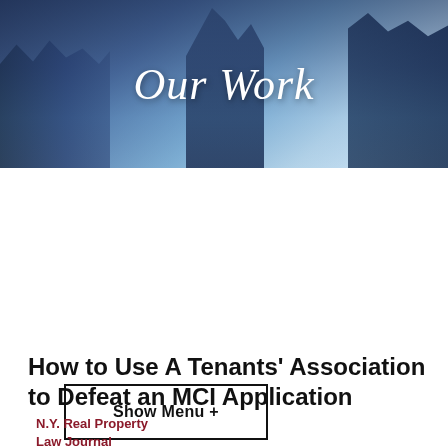[Figure (photo): Banner photo of city skyscrapers viewed from below against a blue sky, with 'Our Work' text overlay in italic serif font]
Show Menu +
[Figure (other): Two dark navy square icon buttons: a printer icon and an email/envelope icon]
How to Use A Tenants' Association to Defeat an MCI Application
N.Y. Real Property Law Journal